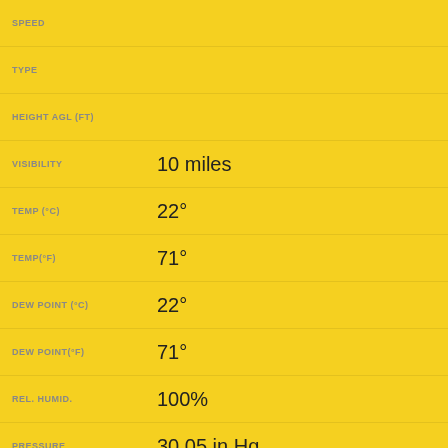| Field | Value |
| --- | --- |
| SPEED |  |
| TYPE |  |
| HEIGHT AGL (FT) |  |
| VISIBILITY | 10 miles |
| TEMP (°C) | 22° |
| TEMP(°F) | 71° |
| DEW POINT (°C) | 22° |
| DEW POINT(°F) | 71° |
| REL. HUMID. | 100% |
| PRESSURE | 30.05 in Hg |
| DENSITY ALTITUDE | 1,543 ft |
| REMARKS |  |
| DATE | 29-🔲 |
| TIME (EDT) | 02:35 |
| FLIGHT RULES | VFR |
| WIND DIR. | Calm |
| SPEED |  |
| TYPE |  |
| HEIGHT AGL (FT) |  |
| VISIBILITY | 10 miles |